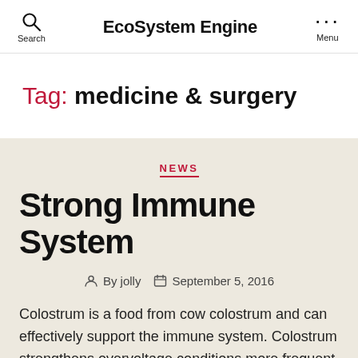EcoSystem Engine
Tag: medicine & surgery
NEWS
Strong Immune System
By jolly   September 5, 2016
Colostrum is a food from cow colostrum and can effectively support the immune system. Colostrum strengthens overvoltage conditions more frequent